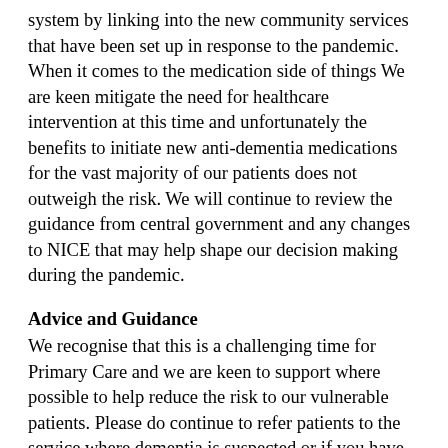system by linking into the new community services that have been set up in response to the pandemic. When it comes to the medication side of things We are keen mitigate the need for healthcare intervention at this time and unfortunately the benefits to initiate new anti-dementia medications for the vast majority of our patients does not outweigh the risk. We will continue to review the guidance from central government and any changes to NICE that may help shape our decision making during the pandemic.
Advice and Guidance
We recognise that this is a challenging time for Primary Care and we are keen to support where possible to help reduce the risk to our vulnerable patients. Please do continue to refer patients to the service where dementia is suspected or if you have queries on how best to help patients within your practice with cognitive impairment / dementia then please do contact us for advice and guidance. For urgent queries where there is risk please contact